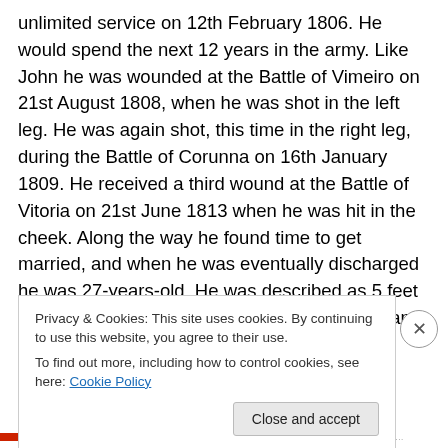unlimited service on 12th February 1806. He would spend the next 12 years in the army. Like John he was wounded at the Battle of Vimeiro on 21st August 1808, when he was shot in the left leg. He was again shot, this time in the right leg, during the Battle of Corunna on 16th January 1809. He received a third wound at the Battle of Vitoria on 21st June 1813 when he was hit in the cheek. Along the way he found time to get married, and when he was eventually discharged he was 27-years-old. He was described as 5 feet 2 inches in height, with sandy hair, grey eyes and a fair complexion.
Privacy & Cookies: This site uses cookies. By continuing to use this website, you agree to their use.
To find out more, including how to control cookies, see here: Cookie Policy